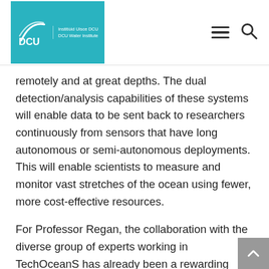[Figure (logo): DCU Water Institute logo with teal background, swish graphic and DCU text, alongside Institiúid Uisce DCU / DCU Water Institute text]
remotely and at great depths. The dual detection/analysis capabilities of these systems will enable data to be sent back to researchers continuously from sensors that have long autonomous or semi-autonomous deployments. This will enable scientists to measure and monitor vast stretches of the ocean using fewer, more cost-effective resources.
For Professor Regan, the collaboration with the diverse group of experts working in TechOceanS has already been a rewarding experience.
“We have a great team of people, and this project is really about communication across the disciplines and coming together to the same path. We’re working with biologists and engineers and combining these biosensors with new optical